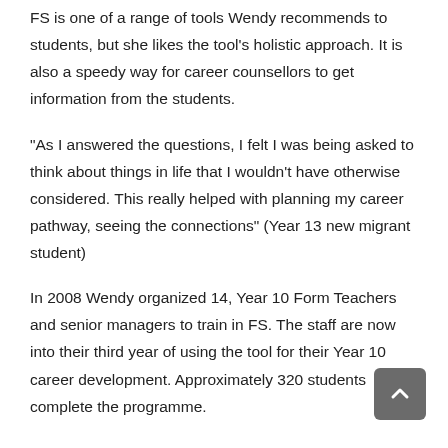FS is one of a range of tools Wendy recommends to students, but she likes the tool's holistic approach. It is also a speedy way for career counsellors to get information from the students.
“As I answered the questions, I felt I was being asked to think about things in life that I wouldn’t have otherwise considered. This really helped with planning my career pathway, seeing the connections” (Year 13 new migrant student)
In 2008 Wendy organized 14, Year 10 Form Teachers and senior managers to train in FS. The staff are now into their third year of using the tool for their Year 10 career development. Approximately 320 students complete the programme.